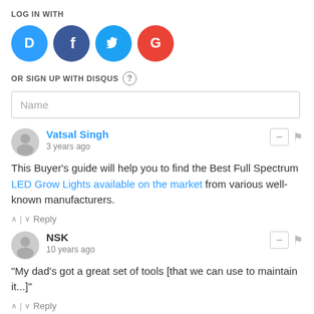LOG IN WITH
[Figure (illustration): Four social login icons: Disqus (blue circle with D), Facebook (dark blue circle with f), Twitter (light blue circle with bird), Google (red circle with G)]
OR SIGN UP WITH DISQUS (?)
Name
Vatsal Singh
3 years ago
This Buyer's guide will help you to find the Best Full Spectrum LED Grow Lights available on the market from various well-known manufacturers.
Reply
NSK
10 years ago
"My dad's got a great set of tools [that we can use to maintain it...]"
Reply